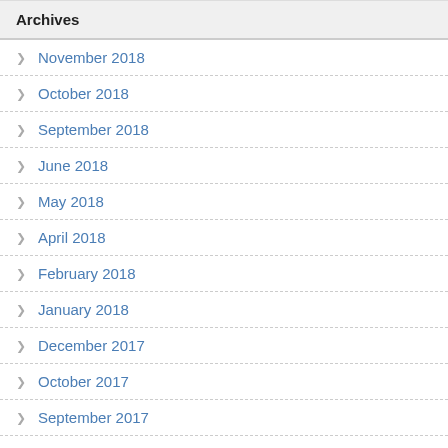Archives
November 2018
October 2018
September 2018
June 2018
May 2018
April 2018
February 2018
January 2018
December 2017
October 2017
September 2017
August 2017
July 2017
June 2017
May 2017